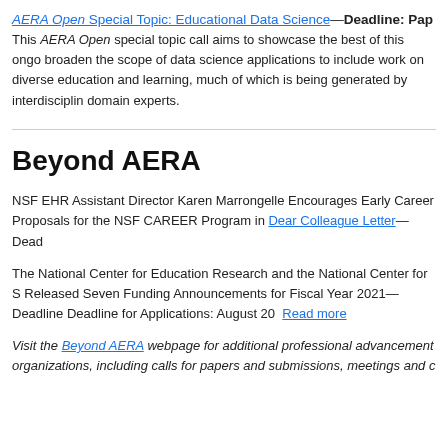AERA Open Special Topic: Educational Data Science—Deadline: Pap... This AERA Open special topic call aims to showcase the best of this ongo... broaden the scope of data science applications to include work on diverse... education and learning, much of which is being generated by interdisciplin... domain experts.
Beyond AERA
NSF EHR Assistant Director Karen Marrongelle Encourages Early Career Proposals for the NSF CAREER Program in Dear Colleague Letter—Dead...
The National Center for Education Research and the National Center for S... Released Seven Funding Announcements for Fiscal Year 2021—Deadline... Deadline for Applications: August 20  Read more
Visit the Beyond AERA webpage for additional professional advancement organizations, including calls for papers and submissions, meetings and c...